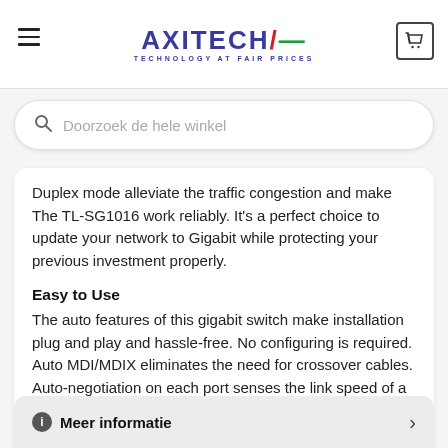AXITECH — TECHNOLOGY AT FAIR PRICES
Doorzoek de hele winkel
Duplex mode alleviate the traffic congestion and make The TL-SG1016 work reliably. It's a perfect choice to update your network to Gigabit while protecting your previous investment properly.
Easy to Use
The auto features of this gigabit switch make installation plug and play and hassle-free. No configuring is required. Auto MDI/MDIX eliminates the need for crossover cables. Auto-negotiation on each port senses the link speed of a network device (10, 100, or 1000 Mbps) and intelligently adjusts for compatibility and optimal performance.
Meer informatie